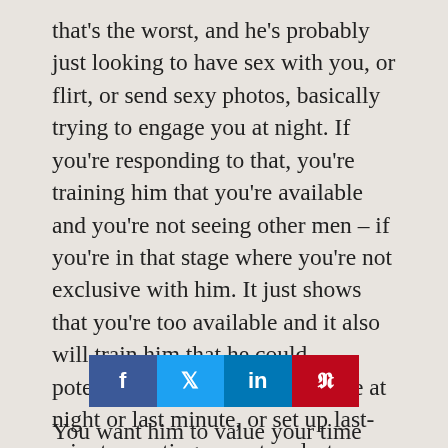that's the worst, and he's probably just looking to have sex with you, or flirt, or send sexy photos, basically trying to engage you at night. If you're responding to that, you're training him that you're available and you're not seeing other men – if you're in that stage where you're not exclusive with him. It just shows that you're too available and it also will train him that he could potentially hook up with you late at night or last minute, or set up last-minute meetings or set up last-minute phone calls. That is not good because you're being too readily available. You're rewarding that which you don't want.
[Figure (infographic): Social media share buttons: Facebook (blue), Twitter (light blue), LinkedIn (dark blue), Pinterest (red)]
You want him to value your time and you